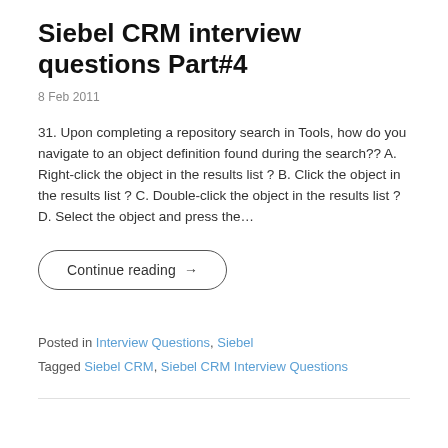Siebel CRM interview questions Part#4
8 Feb 2011
31. Upon completing a repository search in Tools, how do you navigate to an object definition found during the search?? A. Right-click the object in the results list ? B. Click the object in the results list ? C. Double-click the object in the results list ? D. Select the object and press the…
Continue reading →
Posted in Interview Questions, Siebel
Tagged Siebel CRM, Siebel CRM Interview Questions